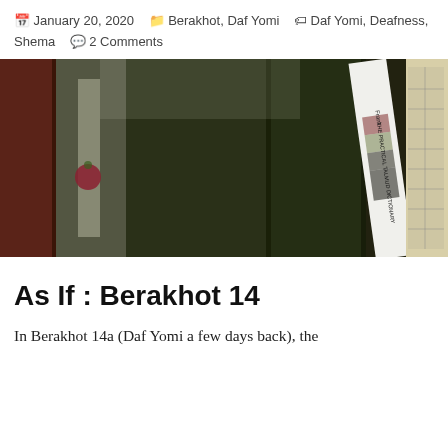January 20, 2020  Berakhot, Daf Yomi  Daf Yomi, Deafness, Shema  2 Comments
[Figure (photo): Photo of a row of books on a shelf, including what appears to be Talmud volumes and a book titled 'The Practical Talmud Dictionary' by Frank, with a bookmark visible.]
As If : Berakhot 14
In Berakhot 14a (Daf Yomi a few days back), the